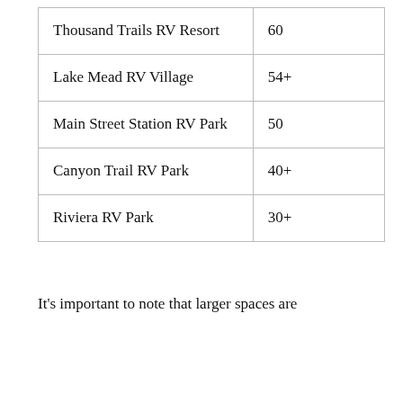| Thousand Trails RV Resort | 60 |
| Lake Mead RV Village | 54+ |
| Main Street Station RV Park | 50 |
| Canyon Trail RV Park | 40+ |
| Riviera RV Park | 30+ |
It's important to note that larger spaces are